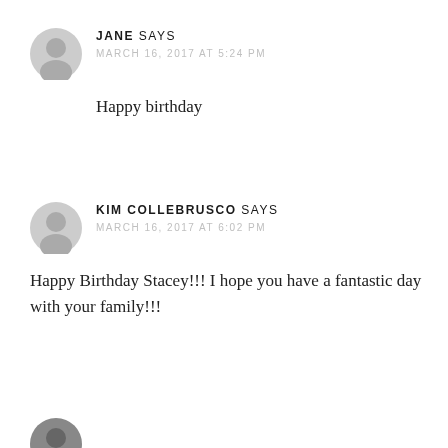JANE SAYS
MARCH 16, 2017 AT 5:24 PM
Happy birthday
KIM COLLEBRUSCO SAYS
MARCH 16, 2017 AT 6:02 PM
Happy Birthday Stacey!!! I hope you have a fantastic day with your family!!!